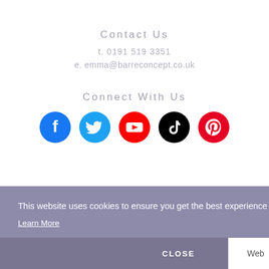Contact Us
t. 0191 519 3351
e. emma@barreconcept.co.uk
Connect With Us
[Figure (infographic): Row of five social media icons: Facebook (dark blue), Twitter (light blue), YouTube (red), TikTok (black), Pinterest (red)]
This website uses cookies to ensure you get the best experience on our website.
Learn More
CLOSE
Web